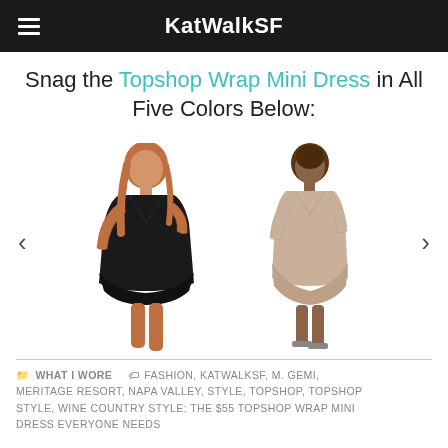KatWalkSF
Snag the Topshop Wrap Mini Dress in All Five Colors Below:
[Figure (photo): Two models wearing Topshop Wrap Mini Dresses: left model in black dress, right model in taupe/beige dress. Carousel with left and right arrows.]
WHAT I WORE   FASHION, KATWALKSF, M. GEMI, MERITAGE RESORT, NAPA VALLEY, STYLE, TOPSHOP, TOPSHOP STYLE, WINE COUNTRY STYLE: THE $55 TOPSHOP WRAP MINI DRESS EVERYONE NEEDS